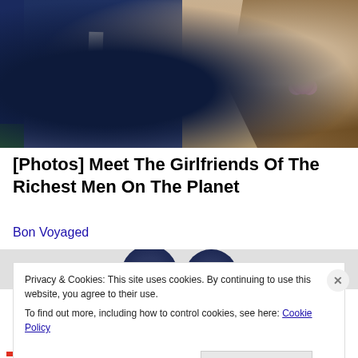[Figure (photo): Two people sitting side by side. On the left, a man in a dark navy suit with a light grey tie. On the right, a woman with long brown hair wearing a beige/cream lace outfit with a pink flower accessory on her chest. Green seats visible in background.]
[Photos] Meet The Girlfriends Of The Richest Men On The Planet
Bon Voyaged
[Figure (photo): Partial second image showing dark rounded headrests/seats, similar event seating.]
Privacy & Cookies: This site uses cookies. By continuing to use this website, you agree to their use.
To find out more, including how to control cookies, see here: Cookie Policy
Close and accept